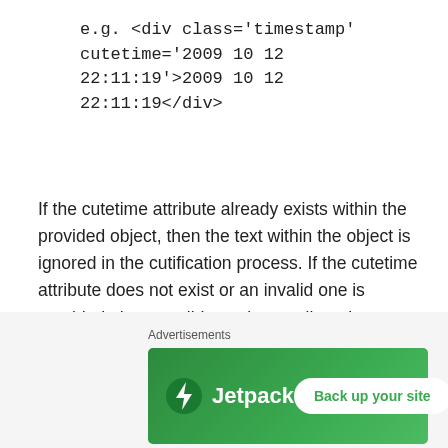e.g. <div class='timestamp' cutetime='2009 10 12 22:11:19'>2009 10 12 22:11:19</div>
If the cutetime attribute already exists within the provided object, then the text within the object is ignored in the cutification process. If the cutetime attribute does not exist or an invalid one is provided, then a valid cutetime attribute is assigned to the object.
If the cutetime attribute is missing, then it is calculated from the text of the provided object.
If neither cutetime attribute nor valid object text exist, then the timestamp is assumed to be ‘now’.
Advertisements
[Figure (other): Jetpack advertisement banner with logo and 'Back up your site' button on green background]